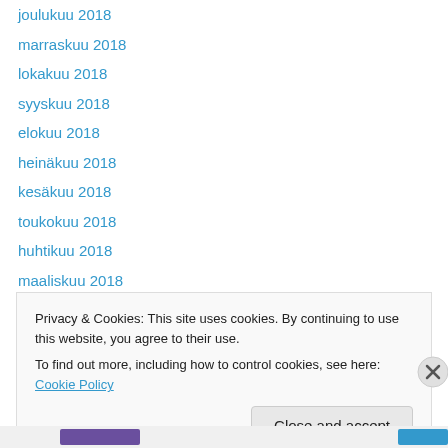joulukuu 2018
marraskuu 2018
lokakuu 2018
syyskuu 2018
elokuu 2018
heinäkuu 2018
kesäkuu 2018
toukokuu 2018
huhtikuu 2018
maaliskuu 2018
helmikuu 2018
tammikuu 2018
joulukuu 2017
Privacy & Cookies: This site uses cookies. By continuing to use this website, you agree to their use. To find out more, including how to control cookies, see here: Cookie Policy
Close and accept